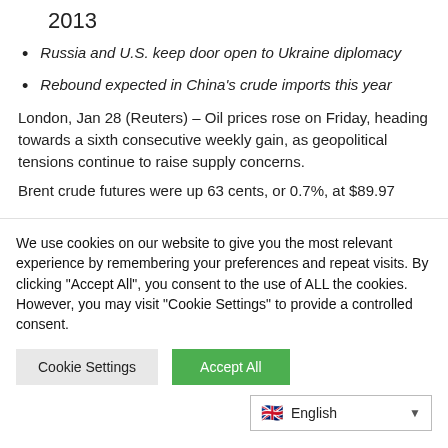2013
Russia and U.S. keep door open to Ukraine diplomacy
Rebound expected in China's crude imports this year
London, Jan 28 (Reuters) – Oil prices rose on Friday, heading towards a sixth consecutive weekly gain, as geopolitical tensions continue to raise supply concerns.
Brent crude futures were up 63 cents, or 0.7%, at $89.97
We use cookies on our website to give you the most relevant experience by remembering your preferences and repeat visits. By clicking "Accept All", you consent to the use of ALL the cookies. However, you may visit "Cookie Settings" to provide a controlled consent.
Cookie Settings | Accept All
English